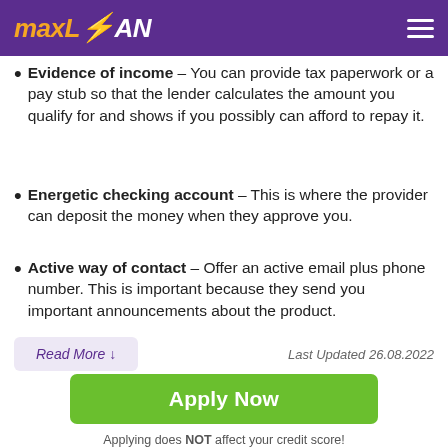maxLOAN
Evidence of income – You can provide tax paperwork or a pay stub so that the lender calculates the amount you qualify for and shows if you possibly can afford to repay it.
Energetic checking account – This is where the provider can deposit the money when they approve you.
Active way of contact – Offer an active email plus phone number. This is important because they send you important announcements about the product.
Read More ↓
Last Updated 26.08.2022
Apply Now
Applying does NOT affect your credit score!
No credit check to apply.